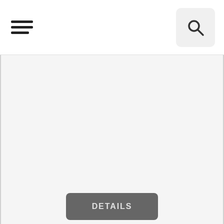☰ [search icon]
[Figure (other): Large empty gray content area placeholder for product image]
YITH WooCommerce EU VAT Premium v2.0.1
DETAILS